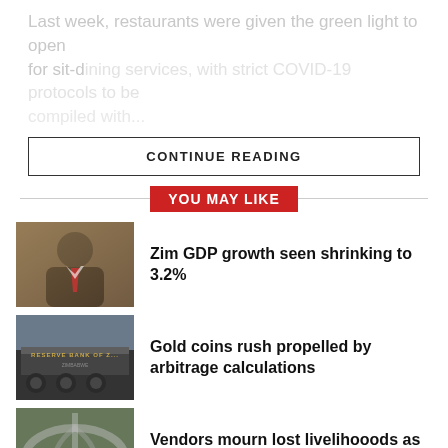Last week, restaurants were given the green light to open for sit-d...
CONTINUE READING
YOU MAY LIKE
[Figure (photo): Portrait photo of a man in a suit, likely a government official]
Zim GDP growth seen shrinking to 3.2%
[Figure (photo): Photo of Reserve Bank of Zimbabwe building sign]
Gold coins rush propelled by arbitrage calculations
[Figure (photo): Aerial photo of Mbudzi interchange construction site]
Vendors mourn lost livelihooods as Mbudzi interchange displaces them
Illegal miners strain SA-Zim relations